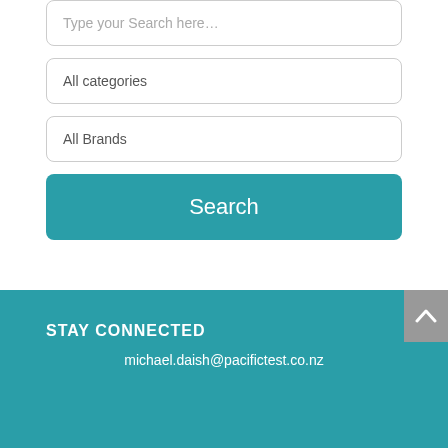Type your Search here…
All categories
All Brands
Search
STAY CONNECTED
michael.daish@pacifictest.co.nz